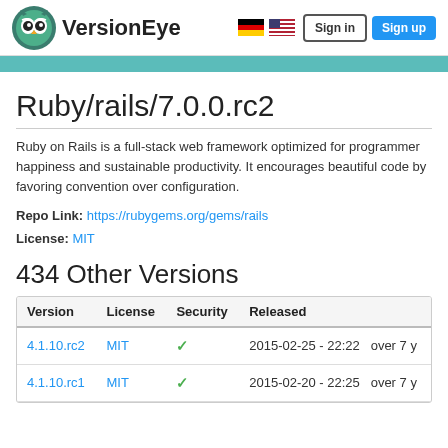VersionEye | Sign in | Sign up
Ruby/rails/7.0.0.rc2
Ruby on Rails is a full-stack web framework optimized for programmer happiness and sustainable productivity. It encourages beautiful code by favoring convention over configuration.
Repo Link: https://rubygems.org/gems/rails
License: MIT
434 Other Versions
| Version | License | Security | Released |
| --- | --- | --- | --- |
| 4.1.10.rc2 | MIT | ✓ | 2015-02-25 - 22:22 | over 7 y |
| 4.1.10.rc1 | MIT | ✓ | 2015-02-20 - 22:25 | over 7 y |